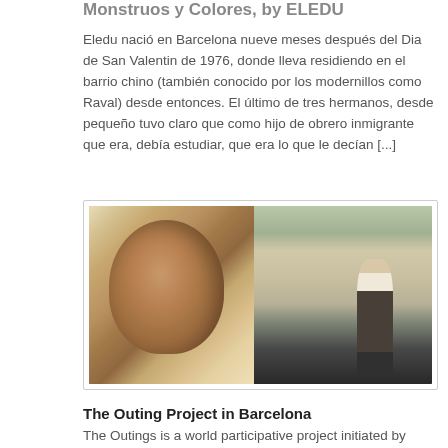Monstruos y Colores, by ELEDU
Eledu nació en Barcelona nueve meses después del Dia de San Valentin de 1976, donde lleva residiendo en el barrio chino (también conocido por los modernillos como Raval) desde entonces. El último de tres hermanos, desde pequeño tuvo claro que como hijo de obrero inmigrante que era, debía estudiar, que era lo que le decían [...]
[Figure (photo): A composite photograph showing a painted mural of a bearded man's face on a worn wall (left) and a Barcelona street scene with a woman walking, trees, and buildings (right).]
The Outing Project in Barcelona
The Outings is a world participative project initiated by Julien